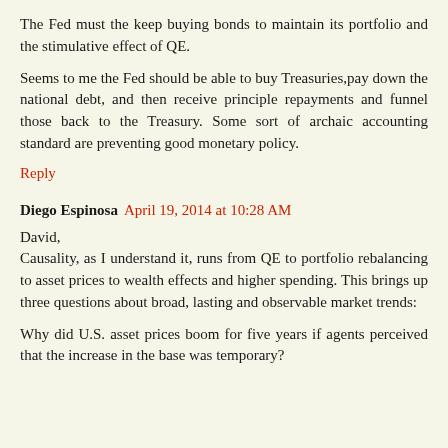The Fed must the keep buying bonds to maintain its portfolio and the stimulative effect of QE.
Seems to me the Fed should be able to buy Treasuries,pay down the national debt, and then receive principle repayments and funnel those back to the Treasury. Some sort of archaic accounting standard are preventing good monetary policy.
Reply
Diego Espinosa April 19, 2014 at 10:28 AM
David,
Causality, as I understand it, runs from QE to portfolio rebalancing to asset prices to wealth effects and higher spending. This brings up three questions about broad, lasting and observable market trends:
Why did U.S. asset prices boom for five years if agents perceived that the increase in the base was temporary?